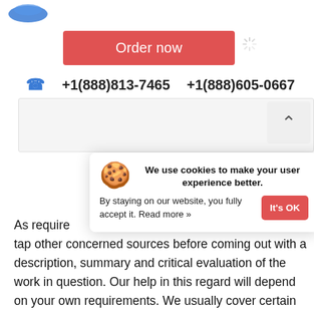[Figure (logo): Partial blue logo at top left]
[Figure (screenshot): Order now button (red/coral) with loading spinner]
+1(888)813-7465   +1(888)605-0667
[Figure (screenshot): Red bar and up-arrow button and spinner overlay]
[Figure (screenshot): Cookie consent popup: 'We use cookies to make your user experience better. By staying on our website, you fully accept it. Read more »' with It's OK button]
[Figure (screenshot): Blue chat button]
As require[d] ... [through] other simil[ar] ... [an]d tap other concerned sources before coming out with a description, summary and critical evaluation of the work in question. Our help in this regard will depend on your own requirements. We usually cover certain stages to develop a literature review, like problem formulation (finding about the topic and its component issues),literature search (looking for the relevant material), data evaluation (assessing relevant data for a better understanding of the topic in hand), and finally, analysis and interpretation (discussing